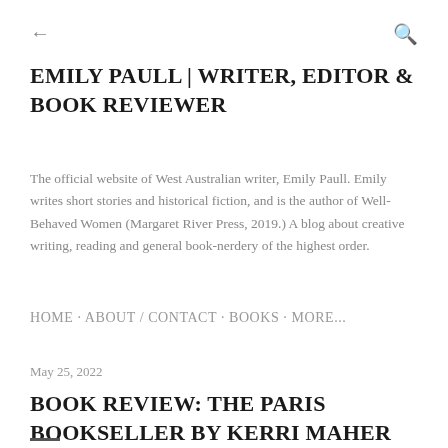←
EMILY PAULL | WRITER, EDITOR & BOOK REVIEWER
The official website of West Australian writer, Emily Paull. Emily writes short stories and historical fiction, and is the author of Well-Behaved Women (Margaret River Press, 2019.) A blog about creative writing, reading and general book-nerdery of the highest order.
HOME · ABOUT / CONTACT · BOOKS · MORE...
May 25, 2022
BOOK REVIEW: THE PARIS BOOKSELLER BY KERRI MAHER